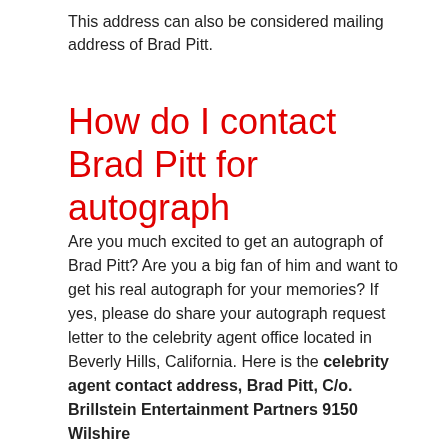This address can also be considered mailing address of Brad Pitt.
How do I contact Brad Pitt for autograph
Are you much excited to get an autograph of Brad Pitt? Are you a big fan of him and want to get his real autograph for your memories? If yes, please do share your autograph request letter to the celebrity agent office located in Beverly Hills, California. Here is the celebrity agent contact address, Brad Pitt, C/o. Brillstein Entertainment Partners 9150 Wilshire